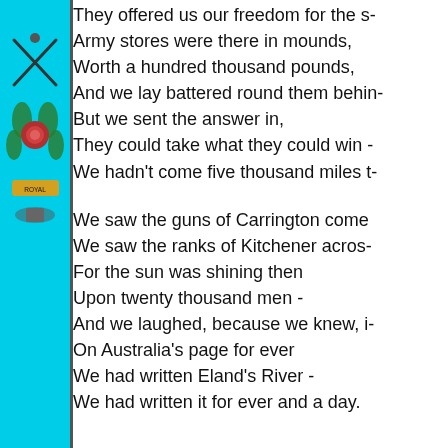[Figure (illustration): Military emblem/badge on a cyan vertical sidebar strip on the left side of the page]
They offered us our freedom for the s[urrender]
Army stores were there in mounds,
Worth a hundred thousand pounds,
And we lay battered round them behin[d]
But we sent the answer in,
They could take what they could win -
We hadn't come five thousand miles t[o]

We saw the guns of Carrington come
We saw the ranks of Kitchener across
For the sun was shining then
Upon twenty thousand men -
And we laughed, because we knew, i[n]
On Australia's page for ever
We had written Eland's River -
We had written it for ever and a day.